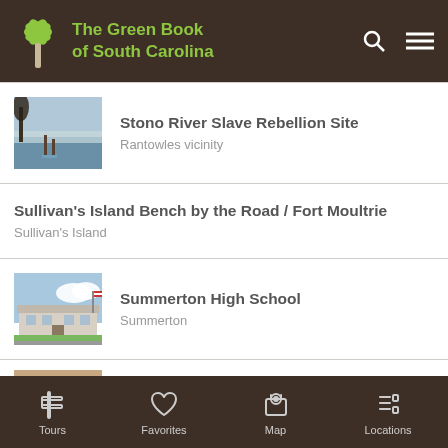The Green Book of South Carolina
Stono River Slave Rebellion Site
Rantowles vicinity
Sullivan's Island Bench by the Road / Fort Moultrie
Sullivan's Island
Summerton High School
Summerton
Sweetgrass Pavilion
Tours | Favorites | Map | Locations